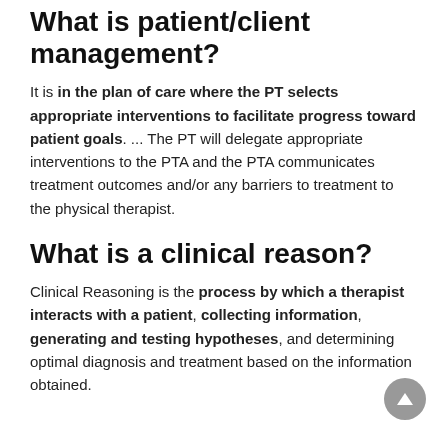What is patient/client management?
It is in the plan of care where the PT selects appropriate interventions to facilitate progress toward patient goals. ... The PT will delegate appropriate interventions to the PTA and the PTA communicates treatment outcomes and/or any barriers to treatment to the physical therapist.
What is a clinical reason?
Clinical Reasoning is the process by which a therapist interacts with a patient, collecting information, generating and testing hypotheses, and determining optimal diagnosis and treatment based on the information obtained.